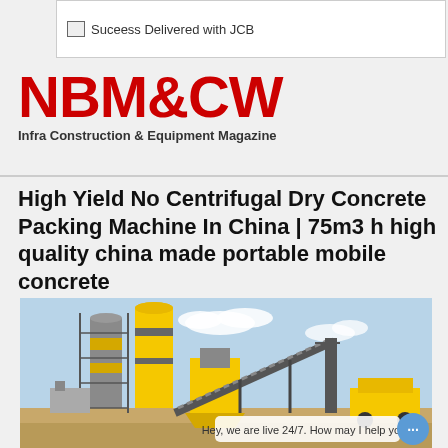[Figure (screenshot): Banner advertisement: broken image icon followed by text 'Suceess Delivered with JCB']
NBM&CW
Infra Construction & Equipment Magazine
High Yield No Centrifugal Dry Concrete Packing Machine In China | 75m3 h high quality china made portable mobile concrete
[Figure (photo): Photograph of a concrete batching plant with yellow silos, mixing equipment, conveyor belts, and open yard under a blue sky. A chat widget overlay reads 'Hey, we are live 24/7. How may I help you?']